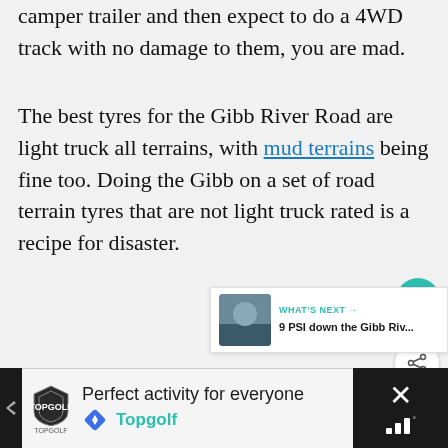camper trailer and then expect to do a 4WD track with no damage to them, you are mad.
The best tyres for the Gibb River Road are light truck all terrains, with mud terrains being fine too. Doing the Gibb on a set of road terrain tyres that are not light truck rated is a recipe for disaster.
[Figure (screenshot): Teal circular heart/save button on right side]
[Figure (screenshot): White circular share button with share icon on right side]
[Figure (screenshot): What's Next panel showing '9 PSI down the Gibb Riv...' with thumbnail image]
[Figure (screenshot): Advertisement bar at bottom: Topgolf - Perfect activity for everyone, with close button on right]